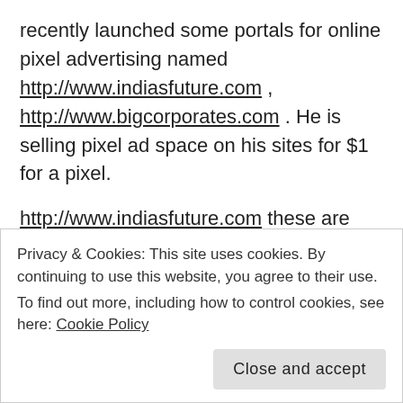recently launched some portals for online pixel advertising named http://www.indiasfuture.com , http://www.bigcorporates.com . He is selling pixel ad space on his sites for $1 for a pixel.
http://www.indiasfuture.com these are contest based sites says, hardeep singh. Now any one can become millionaire for just clicking adds on these sites & registration is FREE, says hardeep singh. Here is a contest. The concept is simple anyone can become register user to play contest. User will
Privacy & Cookies: This site uses cookies. By continuing to use this website, you agree to their use.
To find out more, including how to control cookies, see here: Cookie Policy
Close and accept
Grand Mega Winner will get $ 900,000 (i.e Rs. 4